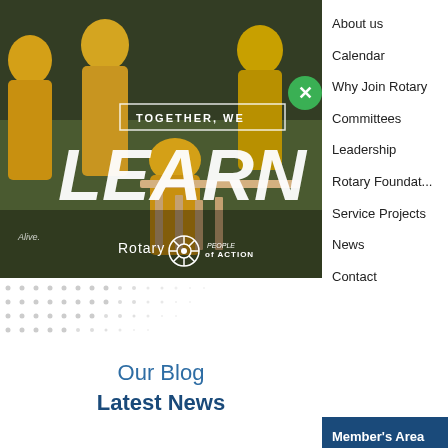[Figure (photo): Group of people in yellow shirts working together outdoors, with text overlay 'TOGETHER, WE LEARN' and Rotary 'People of Action' logo]
[Figure (other): Decorative dot grid pattern below the photo]
Our Blog
Latest News
About us
Calendar
Why Join Rotary
Committees
Leadership
Rotary Foundation
Service Projects
News
Contact
Member's Area